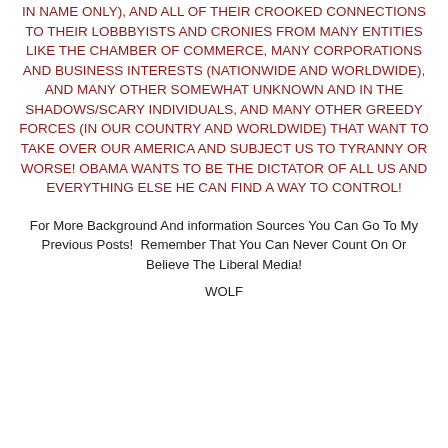IN NAME ONLY), AND ALL OF THEIR CROOKED CONNECTIONS TO THEIR LOBBBYISTS AND CRONIES FROM MANY ENTITIES LIKE THE CHAMBER OF COMMERCE, MANY CORPORATIONS AND BUSINESS INTERESTS (NATIONWIDE AND WORLDWIDE), AND MANY OTHER SOMEWHAT UNKNOWN AND IN THE SHADOWS/SCARY INDIVIDUALS, AND MANY OTHER GREEDY FORCES (IN OUR COUNTRY AND WORLDWIDE) THAT WANT TO TAKE OVER OUR AMERICA AND SUBJECT US TO TYRANNY OR WORSE! OBAMA WANTS TO BE THE DICTATOR OF ALL US AND EVERYTHING ELSE HE CAN FIND A WAY TO CONTROL!
For More Background And information Sources You Can Go To My Previous Posts!  Remember That You Can Never Count On Or Believe The Liberal Media!
WOLF